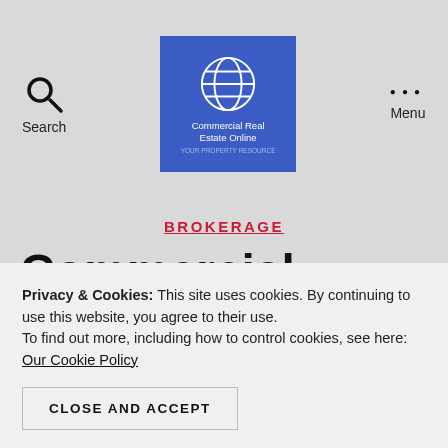Search | Commercial Real Estate Online | Menu
BROKERAGE
Commercial Property Management Handover
Privacy & Cookies: This site uses cookies. By continuing to use this website, you agree to their use.
To find out more, including how to control cookies, see here: Our Cookie Policy
CLOSE AND ACCEPT